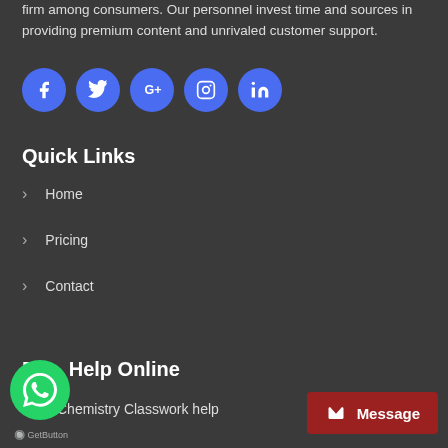firm among consumers. Our personnel invest time and sources in providing premium content and unrivaled customer support.
[Figure (infographic): Five blue circular social media icon buttons: Facebook, Twitter, Google+, Instagram, LinkedIn]
Quick Links
Home
Pricing
Contact
Essay Help Online
Chemistry Classwork help
[Figure (logo): WhatsApp green circular button with phone/chat icon]
GetButton
Message